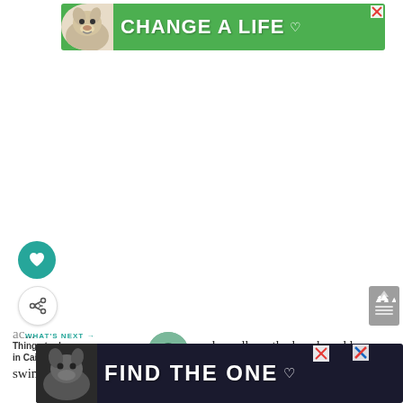[Figure (screenshot): Green advertisement banner with dog image and text 'CHANGE A LIFE' with heart icon and X close button]
[Figure (screenshot): Teal circular like/heart button and circular share button on left side; gray scroll-to-top button on right]
[Figure (screenshot): What's Next navigation bar with circular thumbnail image and labels 'WHAT'S NEXT' and 'Things to do in Cairns on ...']
nly walk on the beach and have a safe swim. Or you can opt for one of the many available ac... ing point of ... ki... you...
[Figure (screenshot): Dark advertisement banner with dog image and text 'FIND THE ONE' with heart icon and X close buttons]